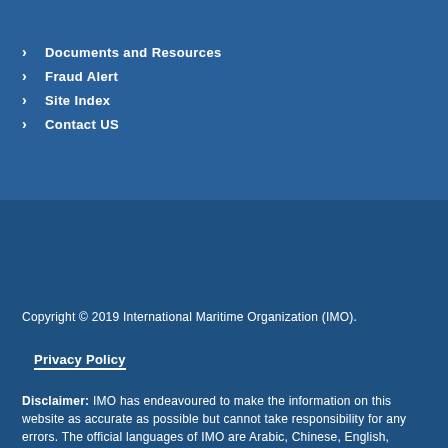Documents and Resources
Fraud Alert
Site Index
Contact US
Copyright © 2019 International Maritime Organization (IMO).
Privacy Policy
Disclaimer: IMO has endeavoured to make the information on this website as accurate as possible but cannot take responsibility for any errors. The official languages of IMO are Arabic, Chinese, English,